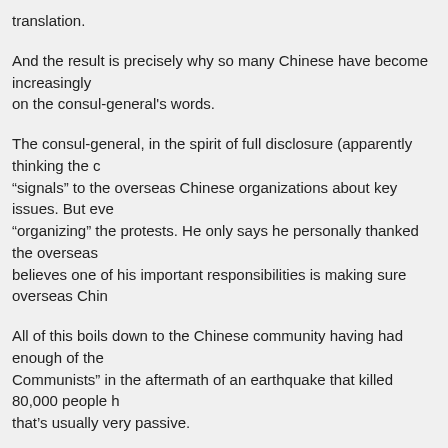translation.
And the result is precisely why so many Chinese have become increasingly on the consul-general's words.
The consul-general, in the spirit of full disclosure (apparently thinking the c“signals” to the overseas Chinese organizations about key issues. But eve “organizing” the protests. He only says he personally thanked the overseas believes one of his important responsibilities is making sure overseas Chin
All of this boils down to the Chinese community having had enough of the Communists” in the aftermath of an earthquake that killed 80,000 people h that's usually very passive.
56. specul8r Says:
May 28th, 2008 at 9:59 pm
source: http://www.anti-cnn.com/forum/en/thread-1904-1-1.html

what i learn on the western media
A devastating disaster came!

We won't be defeated.

The western media remains silence when they witnessed our governmen

While some of them still misunderstood China and its government.They a

down their request of coming to China to do some commentary report.